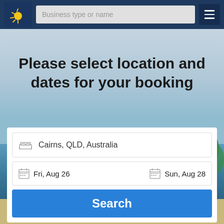[Figure (screenshot): Navigation bar with logo, search input placeholder 'Business type or name', and hamburger menu button on dark navy background]
[Figure (photo): Beach/tropical background with sky, water, and sandy shore, partially obscured by overlay]
Please select location and dates for your booking
Cairns, QLD, Australia
Fri, Aug 26
Sun, Aug 28
Search